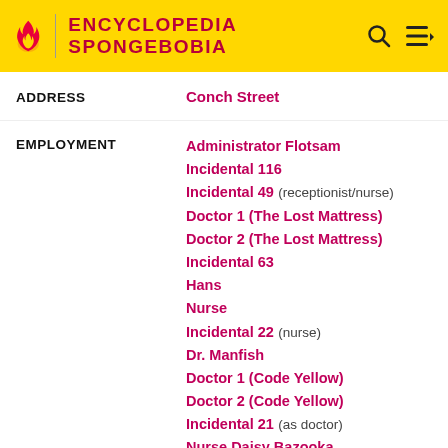ENCYCLOPEDIA SPONGEBOBIA
| Field | Value |
| --- | --- |
| ADDRESS | Conch Street |
| EMPLOYMENT | Administrator Flotsam
Incidental 116
Incidental 49 (receptionist/nurse)
Doctor 1 (The Lost Mattress)
Doctor 2 (The Lost Mattress)
Incidental 63
Hans
Nurse
Incidental 22 (nurse)
Dr. Manfish
Doctor 1 (Code Yellow)
Doctor 2 (Code Yellow)
Incidental 21 (as doctor)
Nurse Daisy Bazooka |
| FIRST APPEARANCE | "Boating School" (mentioned) |